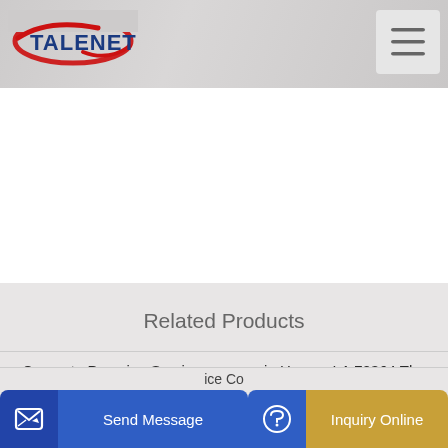[Figure (logo): Talenet logo with red oval swoosh and blue text]
[Figure (other): Hamburger menu icon with three horizontal lines]
Related Products
Concrete Pumping Service near me in Houma LA 70364 The
Concrete Line Pumping in Perth
ice Co
[Figure (other): Send Message button with icon]
[Figure (other): Inquiry Online button with headset icon]